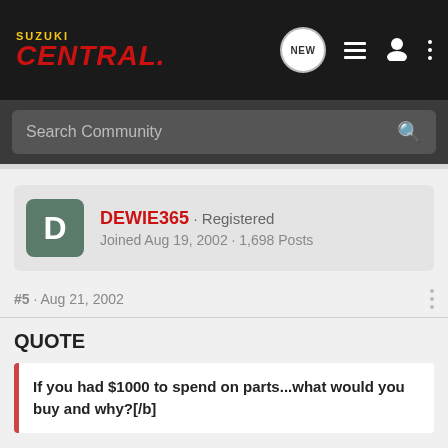Suzuki Central
Search Community
DEWIE365 · Registered
Joined Aug 19, 2002 · 1,698 Posts
#5 · Aug 21, 2002
QUOTE
If you had $1000 to spend on parts...what would you buy and why?[/b]
I could not deal with having only a $1,000.I have to have what I want when I want it.I spend 50% of my day shopping online for my z400 every day.Spoil Me HeHe DEWIE